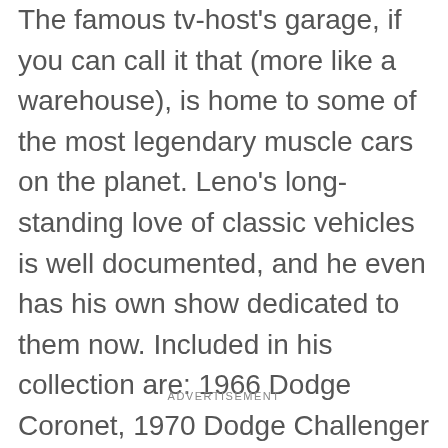The famous tv-host's garage, if you can call it that (more like a warehouse), is home to some of the most legendary muscle cars on the planet. Leno's long-standing love of classic vehicles is well documented, and he even has his own show dedicated to them now. Included in his collection are: 1966 Dodge Coronet, 1970 Dodge Challenger Hemi, a brand new Dodge Charger Hellcat, Ford Galaxie 500 and an Oldsmobile Toronado. And that's just to name a few.
ADVERTISEMENT